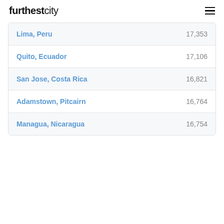furthestcity
| City | Distance |
| --- | --- |
| Lima, Peru | 17,353 |
| Quito, Ecuador | 17,106 |
| San Jose, Costa Rica | 16,821 |
| Adamstown, Pitcairn | 16,764 |
| Managua, Nicaragua | 16,754 |